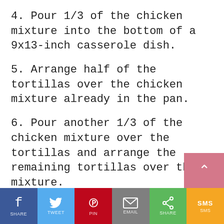4. Pour 1/3 of the chicken mixture into the bottom of a 9x13-inch casserole dish.
5. Arrange half of the tortillas over the chicken mixture already in the pan.
6. Pour another 1/3 of the chicken mixture over the tortillas and arrange the remaining tortillas over the mixture.
7. Pour the remaining chicken mixture
[Figure (other): Social share bar with Facebook, Twitter, Pinterest, Email, Share, and SMS buttons]